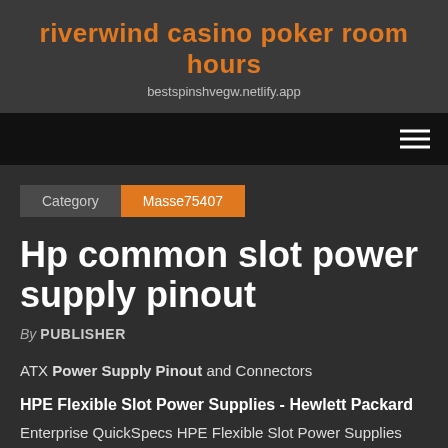riverwind casino poker room hours
bestspinshvegw.netlify.app
[Figure (other): Navigation bar with hamburger menu icon (three horizontal lines) on the right]
Category   Masse75407
Hp common slot power supply pinout
By PUBLISHER
ATX Power Supply Pinout and Connectors
HPE Flexible Slot Power Supplies - Hewlett Packard
Enterprise QuickSpecs HPE Flexible Slot Power Supplies